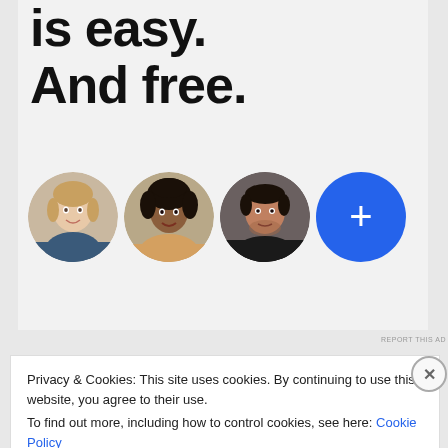is easy. And free.
[Figure (illustration): Three circular portrait photos of people (a woman with light skin and blonde hair, a woman with dark skin and curly hair, a man with medium skin and short dark hair) followed by a blue circle with a white plus sign, arranged in a horizontal row in an advertisement banner.]
REPORT THIS AD
Privacy & Cookies: This site uses cookies. By continuing to use this website, you agree to their use.
To find out more, including how to control cookies, see here: Cookie Policy
Close and accept